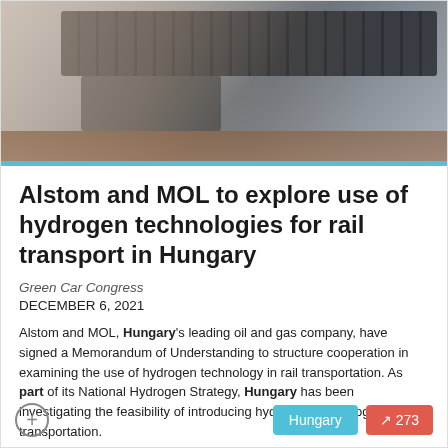[Figure (photo): Person's hands typing on a laptop keyboard, viewed from above on a wooden desk surface]
Alstom and MOL to explore use of hydrogen technologies for rail transport in Hungary
Green Car Congress
DECEMBER 6, 2021
Alstom and MOL, Hungary's leading oil and gas company, have signed a Memorandum of Understanding to structure cooperation in examining the use of hydrogen technology in rail transportation. As part of its National Hydrogen Strategy, Hungary has been investigating the feasibility of introducing hydrogen technology to rail transportation.
Hungary  273